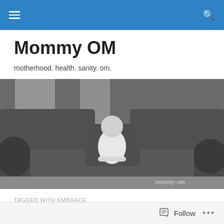Mommy OM – navigation bar
Mommy OM
motherhood. health. sanity. om.
[Figure (photo): Black and white photo of a toddler in a white shirt sitting/leaning on a large sofa, looking at the camera. Watermark 'mommy om' in bottom right corner.]
TAGGED WITH EMBRACE
fear and loving in motherhood
Follow  •••